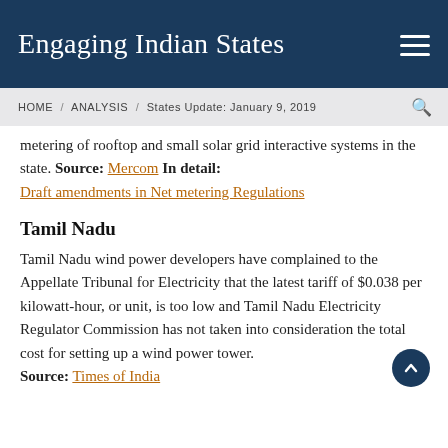Engaging Indian States
HOME / ANALYSIS / States Update: January 9, 2019
metering of rooftop and small solar grid interactive systems in the state. Source: Mercom In detail: Draft amendments in Net metering Regulations
Tamil Nadu
Tamil Nadu wind power developers have complained to the Appellate Tribunal for Electricity that the latest tariff of $0.038 per kilowatt-hour, or unit, is too low and Tamil Nadu Electricity Regulator Commission has not taken into consideration the total cost for setting up a wind power tower. Source: Times of India